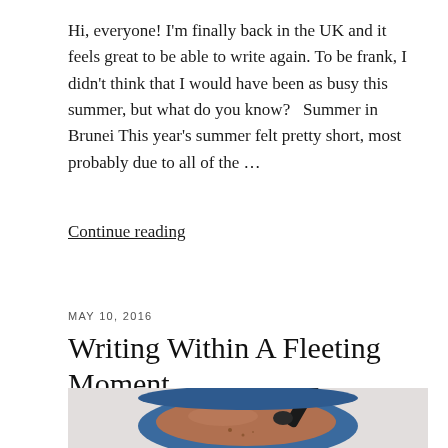Hi, everyone! I'm finally back in the UK and it feels great to be able to write again. To be frank, I didn't think that I would have been as busy this summer, but what do you know?   Summer in Brunei This year's summer felt pretty short, most probably due to all of the ...
Continue reading
MAY 10, 2016
Writing Within A Fleeting Moment
[Figure (photo): Top-down photo of a blue ceramic mug filled with hot chocolate, a dark spoon resting inside, on a white surface.]